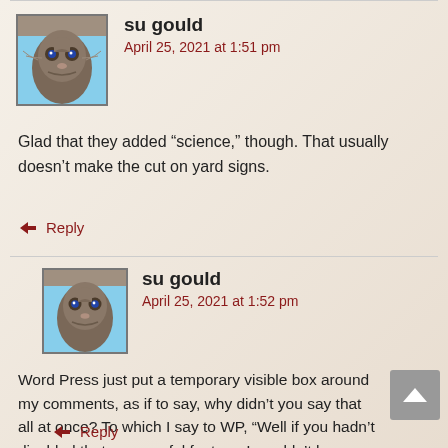[Figure (photo): Avatar photo of a Siamese/Devon Rex cat with blue eyes against a blue sky background]
su gould
April 25, 2021 at 1:51 pm
Glad that they added “science,” though. That usually doesn’t make the cut on yard signs.
Reply
[Figure (photo): Avatar photo of a Siamese/Devon Rex cat with blue eyes against a blue sky background]
su gould
April 25, 2021 at 1:52 pm
Word Press just put a temporary visible box around my comments, as if to say, why didn’t you say that all at once? To which I say to WP, “Well if you hadn’t disabled that very useful feature, I wouldn’t have to.”
Reply